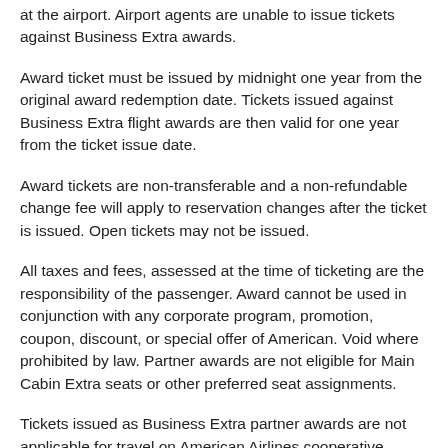at the airport. Airport agents are unable to issue tickets against Business Extra awards.
Award ticket must be issued by midnight one year from the original award redemption date. Tickets issued against Business Extra flight awards are then valid for one year from the ticket issue date.
Award tickets are non-transferable and a non-refundable change fee will apply to reservation changes after the ticket is issued. Open tickets may not be issued.
All taxes and fees, assessed at the time of ticketing are the responsibility of the passenger. Award cannot be used in conjunction with any corporate program, promotion, coupon, discount, or special offer of American. Void where prohibited by law. Partner awards are not eligible for Main Cabin Extra seats or other preferred seat assignments.
Tickets issued as Business Extra partner awards are not applicable for travel on American Airlines cooperative codeshare service with other carriers. In addition, selected flights designated as American airline participant flights, but operated by another carrier, may not be valid for award travel.